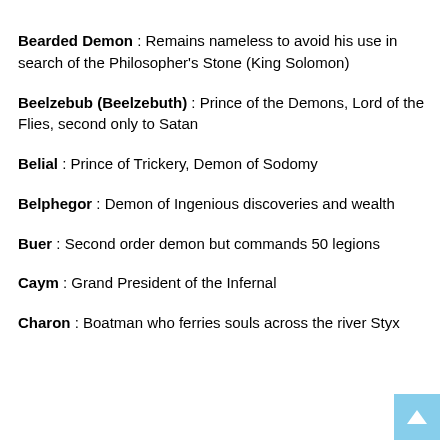Bearded Demon : Remains nameless to avoid his use in search of the Philosopher's Stone (King Solomon)
Beelzebub (Beelzebuth) : Prince of the Demons, Lord of the Flies, second only to Satan
Belial : Prince of Trickery, Demon of Sodomy
Belphegor : Demon of Ingenious discoveries and wealth
Buer : Second order demon but commands 50 legions
Caym : Grand President of the Infernal
Charon : Boatman who ferries souls across the river Styx